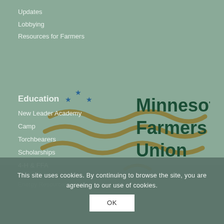Updates
Lobbying
Resources for Farmers
[Figure (logo): Minnesota Farmers Union logo with stylized wave lines and stars]
Education
New Leader Academy
Camp
Torchbearers
Scholarships
4-H & FFA
Activities
Energy Resources
This site uses cookies. By continuing to browse the site, you are agreeing to our use of cookies.